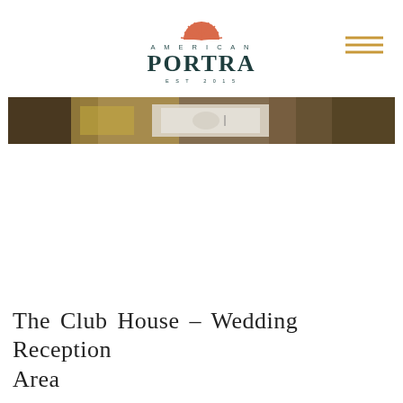AMERICAN PORTRA EST 2015
[Figure (photo): Wide horizontal banner photo showing a wedding reception table scene with golden floral decorations, place settings on a white tablecloth, and blurred guests in the background.]
The Club House – Wedding Reception Area